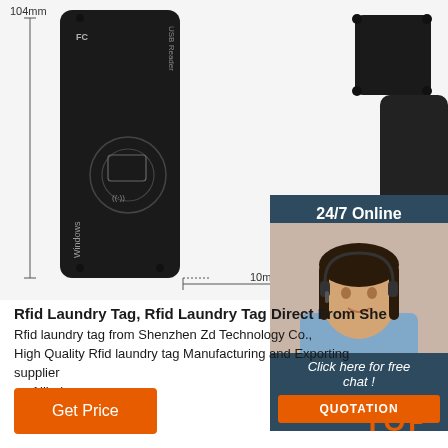[Figure (photo): Two black RFID USB reader devices shown with dimension indicators: 104mm height and 10mm depth]
[Figure (photo): Customer service agent woman with headset smiling, shown in a 24/7 Online chat widget with 'Click here for free chat!' and QUOTATION button]
Rfid Laundry Tag, Rfid Laundry Tag Direct From She
Rfid laundry tag from Shenzhen Zd Technology Co., High Quality Rfid laundry tag Manufacturing and Exporting supplier on Alibaba.com.
Get Price
TOP